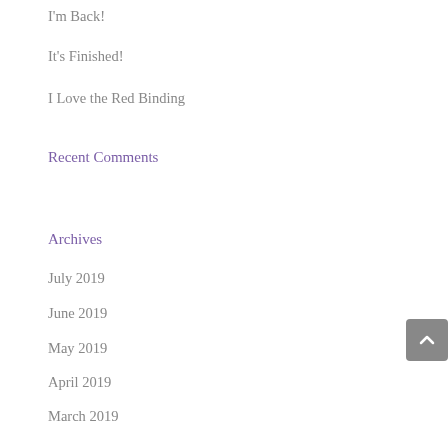I'm Back!
It's Finished!
I Love the Red Binding
Recent Comments
Archives
July 2019
June 2019
May 2019
April 2019
March 2019
February 2019
January 2019
December 2018